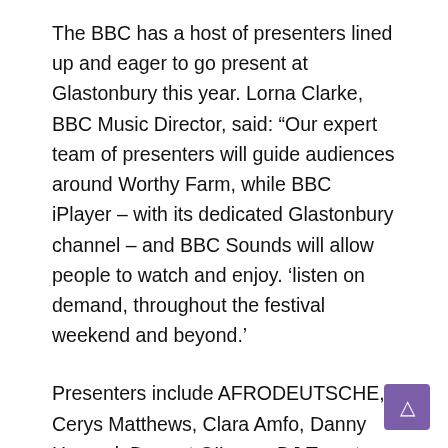The BBC has a host of presenters lined up and eager to go present at Glastonbury this year. Lorna Clarke, BBC Music Director, said: “Our expert team of presenters will guide audiences around Worthy Farm, while BBC iPlayer – with its dedicated Glastonbury channel – and BBC Sounds will allow people to watch and enjoy. ‘listen on demand, throughout the festival weekend and beyond.’
Presenters include AFRODEUTSCHE, Cerys Matthews, Clara Amfo, Danny Howard, Dermot O’Leary, DJ Target, Huw Stephens, Jack Saunders, Jaguar, Jamz Supernova, Jo Whiley, Lauren Laverne, Huw Stephens, Matt Everitt, Sian Eleri, Steve Lamacq , Tiffany Calver, Tom Ravenscroft,